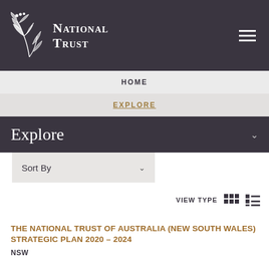[Figure (logo): National Trust logo with white eucalyptus branch illustration and text 'National Trust' in white serif font on dark charcoal background, with hamburger menu icon top right]
HOME
EXPLORE
Explore
Sort By
VIEW TYPE
THE NATIONAL TRUST OF AUSTRALIA (NEW SOUTH WALES) STRATEGIC PLAN 2020 – 2024
NSW